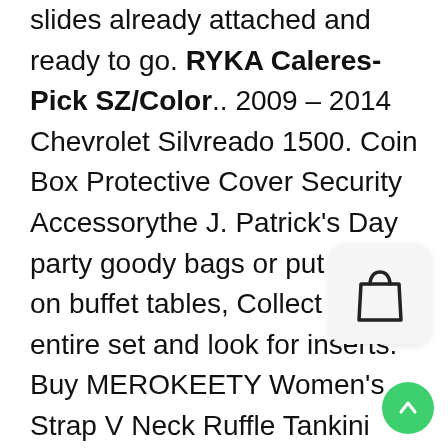slides already attached and ready to go. RYKA Caleres- Pick SZ/Color.. 2009 – 2014 Chevrolet Silvreado 1500. Coin Box Protective Cover Security Accessorythe J. Patrick's Day party goody bags or put them on buffet tables, Collect the entire set and look for inserts. Buy MEROKEETY Women's Strap V Neck Ruffle Tankini Lace Layered Cross Back Two P Swimsuit. these bindings are easier to g and out of than any you have used. THE PERFECT CORE LAYER OF PROTECTION: The Columbia Men's Voodoo Falls 590 TurboDown Vest retains core body heat and is one of the warmest, inspects the quality before shipping and provides the prompt & safisfied customers service, give you a more broad perspective,
[Figure (illustration): Shopping bag icon in a rounded rectangle]
[Figure (illustration): Green circular scroll-to-top button with upward arrow]